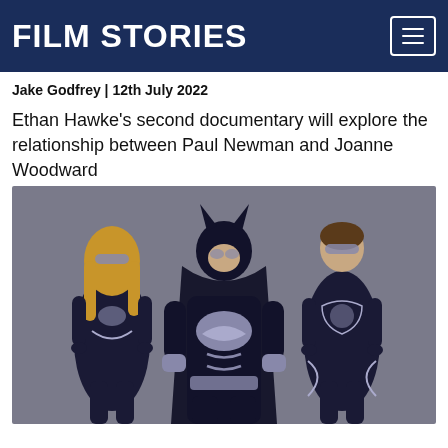FILM STORIES
Jake Godfrey | 12th July 2022
Ethan Hawke's second documentary will explore the relationship between Paul Newman and Joanne Woodward
[Figure (photo): Three actors in dark navy and silver superhero costumes (Batman & Robin style): a woman on the left with silver eye mask and long blonde hair, Batman in the center wearing full bat-cowl, and Robin on the right with silver eye mask, all posed heroically against a grey background]
...